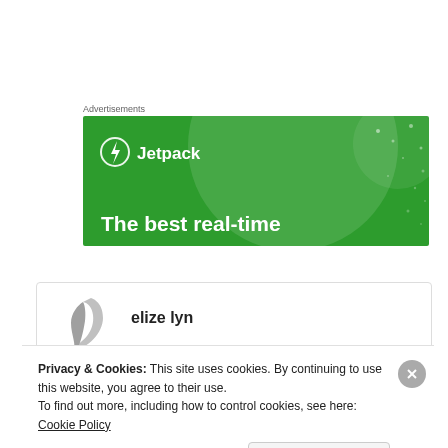Advertisements
[Figure (illustration): Jetpack advertisement banner with green background, circular gradient overlay, star dots, Jetpack logo at top left, and tagline 'The best real-time']
[Figure (illustration): Profile card for user 'elize lyn' with a feather/quill avatar icon and a bottom bar with blue and pink halves]
Privacy & Cookies: This site uses cookies. By continuing to use this website, you agree to their use.
To find out more, including how to control cookies, see here: Cookie Policy
Close and accept